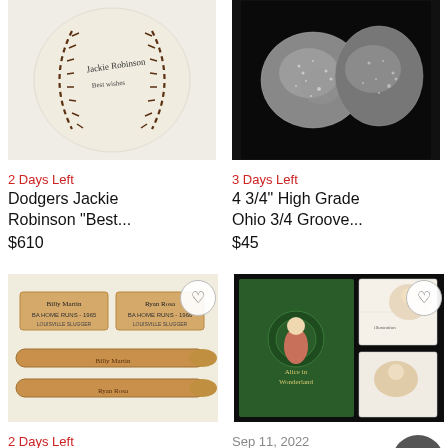[Figure (photo): Autographed baseball, cream/off-white with black stitching, signatures visible on surface]
[Figure (photo): Two silver/metallic stone artifacts on black background]
2 Days Left
Dodgers Jackie Robinson "Best...
$610
3 Days Left
4 3/4" High Grade Ohio 3/4 Groove...
$45
[Figure (photo): Two wooden baseball bat barrels with plaques/labels and two full baseball bats below them]
[Figure (photo): 1897 Alice in Wonderland book cover and interior illustrations on dark background]
2 Days Left
Yankees Mickey
Sep 11, 2022
1897 Alice In